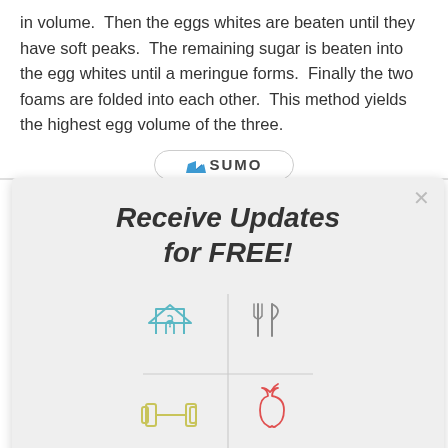in volume. Then the eggs whites are beaten until they have soft peaks. The remaining sugar is beaten into the egg whites until a meringue forms. Finally the two foams are folded into each other. This method yields the highest egg volume of the three.
[Figure (logo): SUMO logo button with crown icon in an oval border]
[Figure (infographic): Modal popup with title 'Receive Updates for FREE!' and four icons (house with heart, fork and knife, dumbbell, apple) arranged in a 2x2 grid with crosshair lines, and a green SUBSCRIBE button]